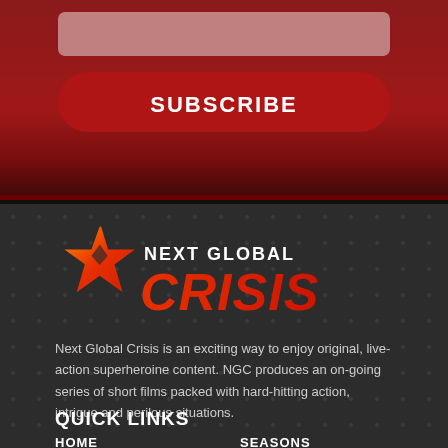[Figure (other): Subscribe section with dark red background, input bar and Subscribe button]
[Figure (logo): Next Global Crisis logo with orange star and red stylized text]
Next Global Crisis is an exciting way to enjoy original, live-action superheroine content. NGC produces an on-going series of short films packed with hard-hitting action, intrigue and perilous situations.
QUICK LINKS
HOME
SEASONS
CHARACTERS
BLOG